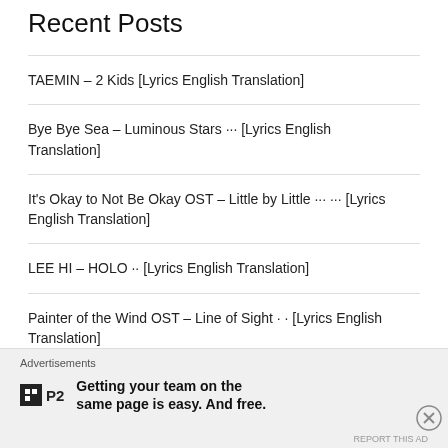Recent Posts
TAEMIN – 2 Kids [Lyrics English Translation]
Bye Bye Sea – Luminous Stars ··· [Lyrics English Translation]
It's Okay to Not Be Okay OST – Little by Little ··· ··· [Lyrics English Translation]
LEE HI – HOLO ·· [Lyrics English Translation]
Painter of the Wind OST – Line of Sight · · [Lyrics English Translation]
[Figure (infographic): Advertisement banner for P2 service: logo with box icon and P2 text, bold text reading 'Getting your team on the same page is easy. And free.']